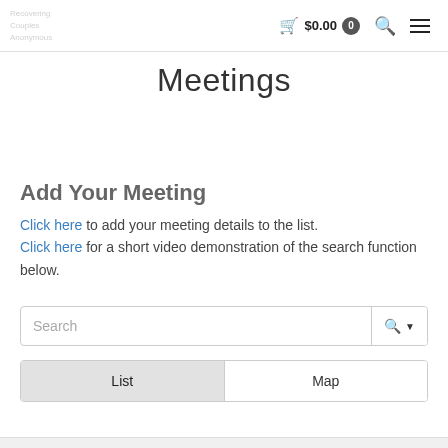$0.00 0
Meetings
Add Your Meeting
Click here to add your meeting details to the list. Click here for a short video demonstration of the search function below.
[Figure (screenshot): Search bar with a search icon and dropdown arrow button]
[Figure (screenshot): List/Map toggle buttons, List is active (grey), Map is inactive (white)]